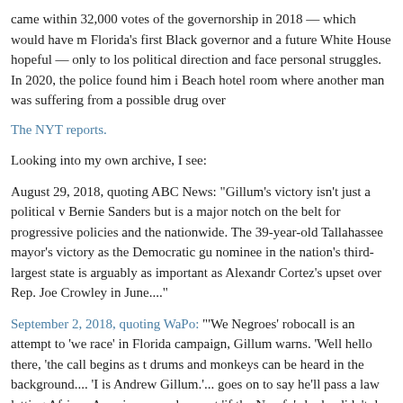came within 32,000 votes of the governorship in 2018 — which would have made him Florida's first Black governor and a future White House hopeful — only to lose political direction and face personal struggles. In 2020, the police found him in a Miami Beach hotel room where another man was suffering from a possible drug overdose.
The NYT reports.
Looking into my own archive, I see:
August 29, 2018, quoting ABC News: "Gillum's victory isn't just a political win for Bernie Sanders but is a major notch on the belt for progressive policies and the left nationwide. The 39-year-old Tallahassee mayor's victory as the Democratic gubernatorial nominee in the nation's third-largest state is arguably as important as Alexandria Ocasio-Cortez's upset over Rep. Joe Crowley in June...."
September 2, 2018, quoting WaPo: "'We Negroes' robocall is an attempt to 'we the race' in Florida campaign, Gillum warns. 'Well hello there, 'the call begins as tribal drums and monkeys can be heard in the background.... 'I is Andrew Gillum.'... goes on to say he'll pass a law letting African Americans evade arrest 'if the N— fo' sho he didn't do nothin'.' It is unclear how many people heard the call."